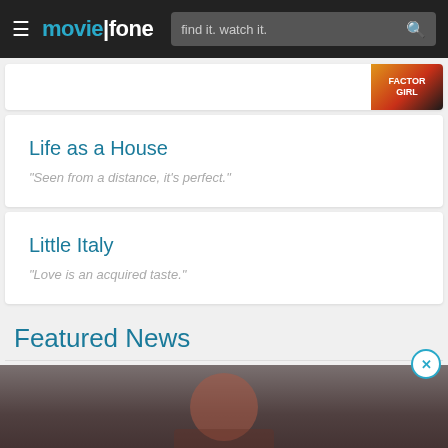moviefone — find it. watch it.
Life as a House
"Seen from a distance, it's perfect."
Little Italy
"Love is an acquired taste."
Featured News
[Figure (photo): A person photographed in low light, dark cinematic atmosphere, shown from the chest up with face partially visible]